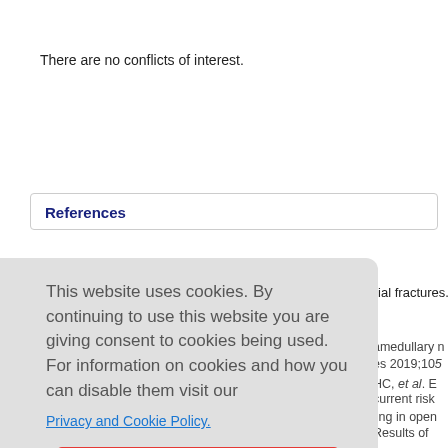There are no conflicts of interest.
References
1. Court-Brown CM, McBirnie J. The epidemiology of tibial fractures. J B... 1995;77:417-21.
This website uses cookies. By continuing to use this website you are giving consent to cookies being used. For information on cookies and how you can disable them visit our Privacy and Cookie Policy. AGREE & PROCEED
amedullary n... es 2019;105...
HC, et al. E... current risk...
ling in open...
Results of...